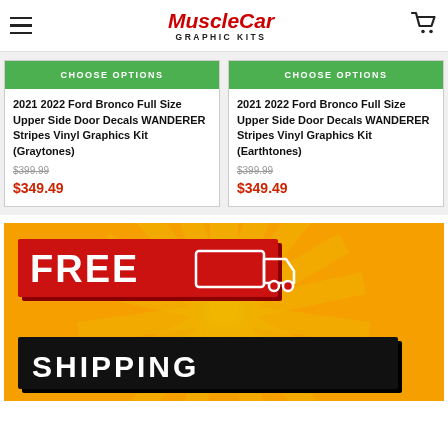MuscleCar Graphic Kits
2021 2022 Ford Bronco Full Size Upper Side Door Decals WANDERER Stripes Vinyl Graphics Kit (Graytones) $399.99 $349.49
2021 2022 Ford Bronco Full Size Upper Side Door Decals WANDERER Stripes Vinyl Graphics Kit (Earthtones) $399.99 $349.49
[Figure (infographic): FREE SHIPPING promotional banner with red '3D' text block and delivery truck icon on yellow sunburst background, with black SHIPPING block at bottom]